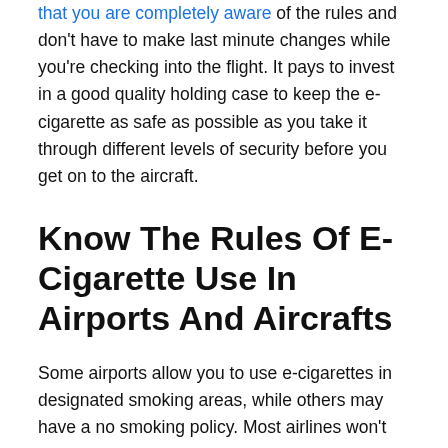that you are completely aware of the rules and don't have to make last minute changes while you're checking into the flight. It pays to invest in a good quality holding case to keep the e-cigarette as safe as possible as you take it through different levels of security before you get on to the aircraft.
Know The Rules Of E-Cigarette Use In Airports And Aircrafts
Some airports allow you to use e-cigarettes in designated smoking areas, while others may have a no smoking policy. Most airlines won't allow you to use the e-cigarette on the aircraft but they will permit you to carry the device with you and not in your check in bag. Consider the following: